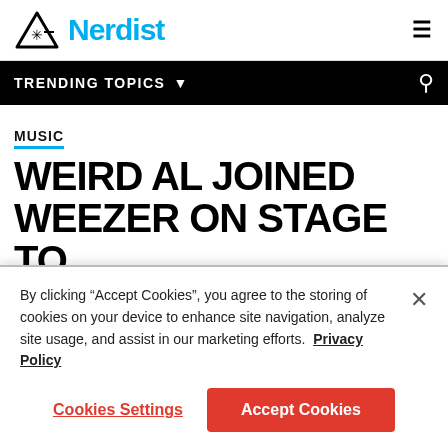Nerdist
TRENDING TOPICS
MUSIC
WEIRD AL JOINED WEEZER ON STAGE TO
By clicking “Accept Cookies”, you agree to the storing of cookies on your device to enhance site navigation, analyze site usage, and assist in our marketing efforts. Privacy Policy
Cookies Settings
Accept Cookies